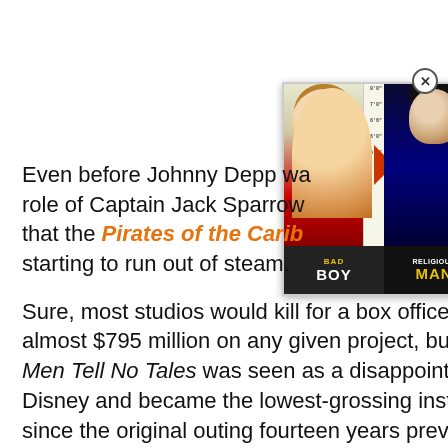[Figure (illustration): Advertisement overlay showing two images side by side with labels 'BAD BOY' and 'RELIGIOUS MAN', featuring two photos of a young male celebrity, with a close button (X) in the top right corner.]
Even before Johnny Depp was cast in the role of Captain Jack Sparrow, it was clear that the Pirates of the Caribbean franchise was starting to run out of steam.
Sure, most studios would kill for a box office haul of almost $795 million on any given project, but Dead Men Tell No Tales was seen as a disappointment by Disney and became the lowest-grossing installment since the original outing fourteen years previously. Not to mention that critics weren't too kind to it, either.